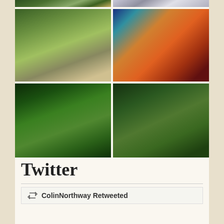[Figure (photo): Top row of photo grid - two outdoor/nature photos (partially visible at top)]
[Figure (photo): Middle left photo: Woman with a chocolate Labrador dog near a river/creek in a forested area with large logs]
[Figure (photo): Middle right photo: Person in blue shirt loading/unloading items from the back of a vehicle with colorful striped blanket/tapestry]
[Figure (photo): Bottom left photo: Forest scene with tall trees, ferns, and a teal/green hammock visible between trees, dog in background]
[Figure (photo): Bottom right photo: Woman smiling, wearing cap, kneeling with chocolate Labrador dog in a forest setting]
Twitter
ColinNorthway Retweeted